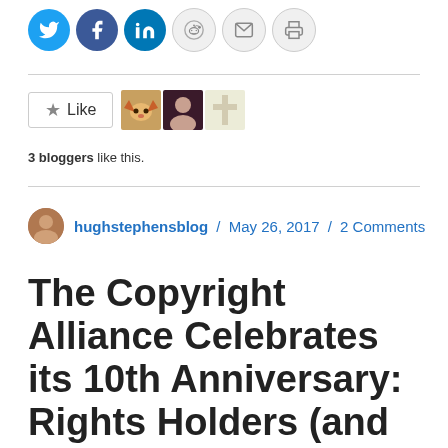[Figure (infographic): Social sharing icon buttons: Twitter (blue), Facebook (blue), LinkedIn (blue), Reddit (light gray), Email (light gray), Print (light gray)]
[Figure (infographic): Like button with star icon, and three blogger avatar images next to it]
3 bloggers like this.
hughstephensblog / May 26, 2017 / 2 Comments
The Copyright Alliance Celebrates its 10th Anniversary: Rights Holders (and Others) World-Wide Should